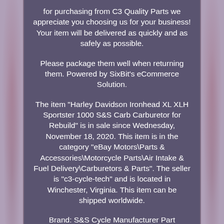for purchasing from C3 Quality Parts we appreciate you choosing us for your business! Your item will be delivered as quickly and as safely as possible.
Please package them well when returning them. Powered by SixBit's eCommerce Solution.
The item "Harley Davidson Ironhead XL XLH Sportster 1000 S&S Carb Carburetor for Rebuild" is in sale since Wednesday, November 18, 2020. This item is in the category "eBay Motors\Parts & Accessories\Motorcycle Parts\Air Intake & Fuel Delivery\Carburetors & Parts". The seller is "c3-cycle-tech" and is located in Winchester, Virginia. This item can be shipped worldwide.
Brand: S&S Cycle Manufacturer Part Number: Does Not Apply